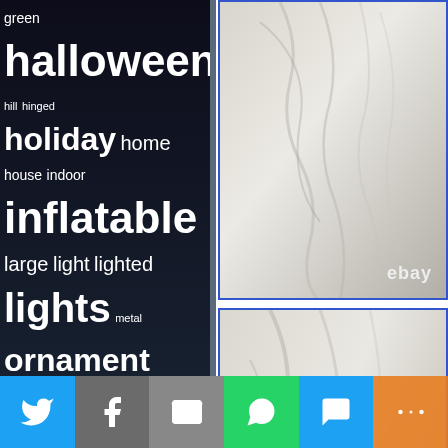green halloween hill hinged holiday home house indoor inflatable large light lighted lights metal ornament ornaments outdoor pottery pre-lit pumpkin rare reindeer santa skeleton snow stand tree vintage white wreath xmas yard
Contact
Privacy Policy
Terms Of Service
[Figure (photo): Close-up of white/cream sculptural figure with flowing robes, eBay watermark visible]
[Figure (photo): Close-up of white/cream sculptural figure with flowing fabric draped form, dark stand element visible, eBay watermark]
[Figure (infographic): Social share bar with Twitter, Facebook, Email, WhatsApp, SMS, and More buttons]